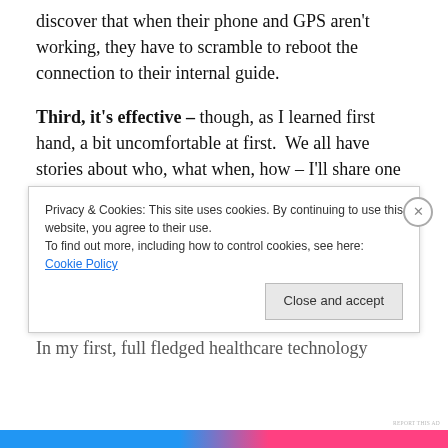discover that when their phone and GPS aren't working, they have to scramble to reboot the connection to their internal guide.
Third, it's effective – though, as I learned first hand, a bit uncomfortable at first.  We all have stories about who, what when, how – I'll share one of mine.
[Figure (other): WooCommerce advertisement banner: purple background with WooCommerce logo, teal and orange decorative shapes, text reading 'How to start selling subscriptions online']
In my first, full fledged healthcare technology
Privacy & Cookies: This site uses cookies. By continuing to use this website, you agree to their use.
To find out more, including how to control cookies, see here: Cookie Policy
Close and accept